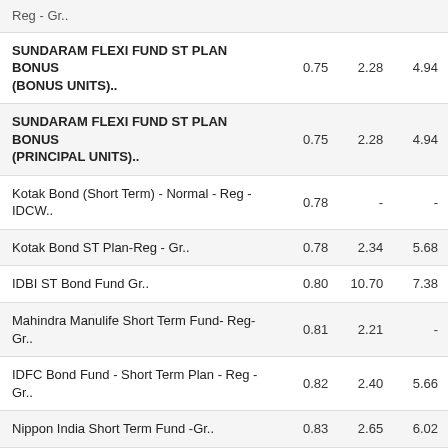| Fund Name | Col1 | Col2 | Col3 |
| --- | --- | --- | --- |
| Reg - Gr.. |  |  |  |
| SUNDARAM FLEXI FUND ST PLAN BONUS (BONUS UNITS).. | 0.75 | 2.28 | 4.94 |
| SUNDARAM FLEXI FUND ST PLAN BONUS (PRINCIPAL UNITS).. | 0.75 | 2.28 | 4.94 |
| Kotak Bond (Short Term) - Normal - Reg - IDCW.. | 0.78 | - | - |
| Kotak Bond ST Plan-Reg - Gr.. | 0.78 | 2.34 | 5.68 |
| IDBI ST Bond Fund Gr.. | 0.80 | 10.70 | 7.38 |
| Mahindra Manulife Short Term Fund- Reg- Gr.. | 0.81 | 2.21 | - |
| IDFC Bond Fund - Short Term Plan - Reg - Gr.. | 0.82 | 2.40 | 5.66 |
| Nippon India Short Term Fund -Gr.. | 0.83 | 2.65 | 6.02 |
| Kotak Medium Term Fund - Gr.. | 0.87 | 3.29 | 5.99 |
| Canara Robeco Short Duration Fund - Reg - Gr.. | 0.91 | 2.08 | 5.11 |
| IDFC All Seasons Bond Fund-Reg Plan-Gr.. | 0.91 | 2.33 | 5.98 |
| DSP ST Fund - Reg Plan - Gr.. | 1.00 | 2.45 | 5.41 |